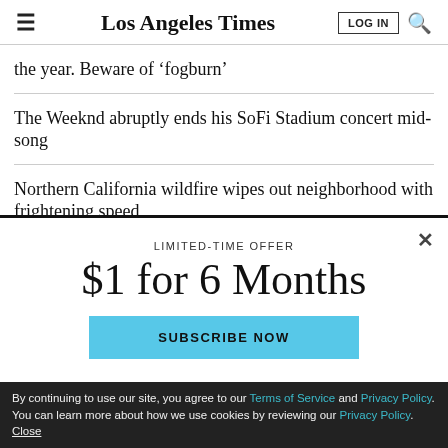Los Angeles Times — LOG IN | Search
the year. Beware of 'fogburn'
The Weeknd abruptly ends his SoFi Stadium concert mid-song
Northern California wildfire wipes out neighborhood with frightening speed
LIMITED-TIME OFFER
$1 for 6 Months
SUBSCRIBE NOW
By continuing to use our site, you agree to our Terms of Service and Privacy Policy. You can learn more about how we use cookies by reviewing our Privacy Policy. Close